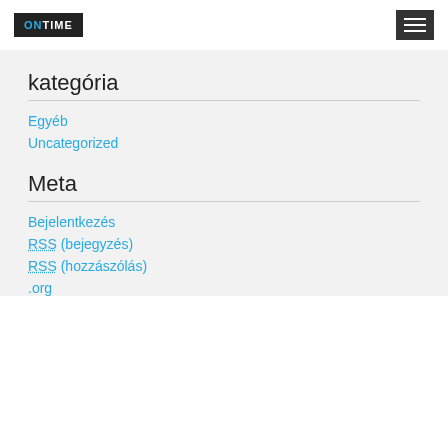ONTIME [logo] + menu button
kategória
Egyéb
Uncategorized
Meta
Bejelentkezés
RSS (bejegyzés)
RSS (hozzászólás)
.org